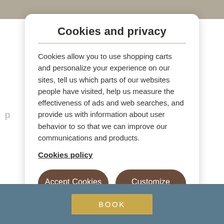Cookies and privacy
Cookies allow you to use shopping carts and personalize your experience on our sites, tell us which parts of our websites people have visited, help us measure the effectiveness of ads and web searches, and provide us with information about user behavior to so that we can improve our communications and products.
Cookies policy
Accept Cookies
Customize Cookies
BOOK